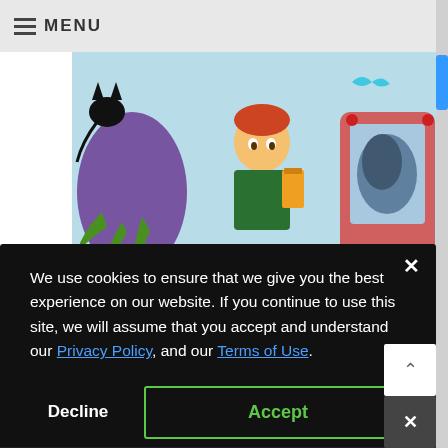≡ MENU
[Figure (illustration): Children's book illustration showing a boy with orange hair holding a drink, a purple monster creature on the left, and a retro pink TV set on the right showing a stormy image, against a colorful background]
[Figure (illustration): Book cover showing 'SAVE THE CAT! STORY BREAKING' text on orange background with red letters]
We use cookies to ensure that we give you the best experience on our website. If you continue to use this site, we will assume that you accept and understand our Privacy Policy, and our Terms of Use.
Decline
Accept
Share This ∨